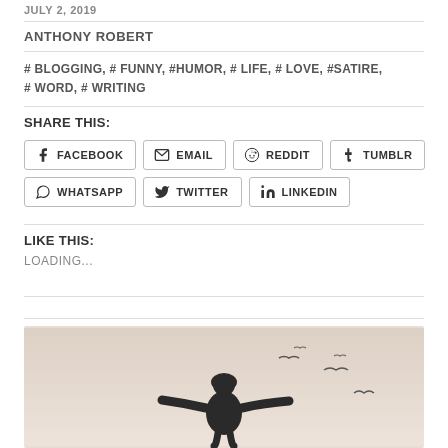JULY 2, 2019
ANTHONY ROBERT
# BLOGGING, # FUNNY, #HUMOR, # LIFE, # LOVE, #SATIRE, # WORD, # WRITING
SHARE THIS:
FACEBOOK EMAIL REDDIT TUMBLR WHATSAPP TWITTER LINKEDIN
LIKE THIS:
LOADING...
[Figure (photo): Person in dark hoodie with arms outstretched, birds flying around them against a light sky background]